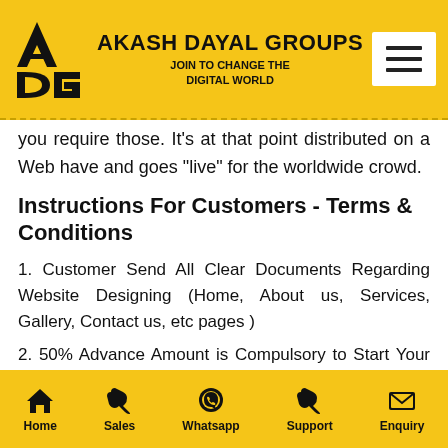AKASH DAYAL GROUPS — JOIN TO CHANGE THE DIGITAL WORLD
you require those. It's at that point distributed on a Web have and goes "live" for the worldwide crowd.
Instructions For Customers - Terms & Conditions
1. Customer Send All Clear Documents Regarding Website Designing (Home, About us, Services, Gallery, Contact us, etc pages )
2. 50% Advance Amount is Compulsory to Start Your Project (All Demo Templates will send after taking Advance Money)
Home  Sales  Whatsapp  Support  Enquiry